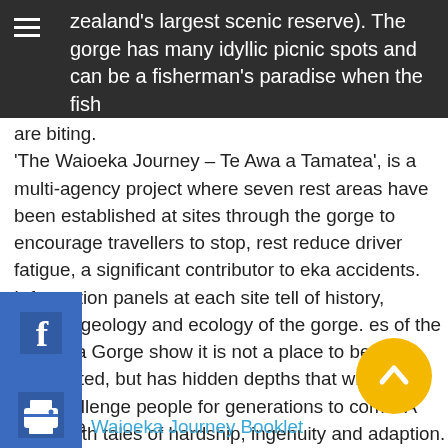zealand's largest scenic reserve). The gorge has many idyllic picnic spots and can be a fisherman's paradise when the fish are biting.
'The Waioeka Journey – Te Awa a Tamatea', is a multi-agency project where seven rest areas have been established at sites through the gorge to encourage travellers to stop, rest reduce driver fatigue, a significant contributor to eka accidents. Information panels at each site tell of history, culture, geology and ecology of the gorge. es of the Waioeka Gorge show it is not a place to be taken for granted, but has hidden depths that will delight and challenge people for generations to come. A place with tales of hardship, ingenuity and adaption. Each of th s has its own story to tell. The two main agencies ha The New Zealand Transport Agency www.nzta.govt.nz and the Department of Conservation. www.doc.govt.nz.
View the Waioeka Journey Booklet